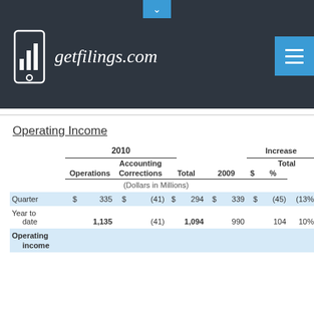getfilings.com
Operating Income
|  | $ | Operations | $ | Accounting Corrections | $ | Total | $ | 2009 | $ | Total $ | Total % |
| --- | --- | --- | --- | --- | --- | --- | --- | --- | --- | --- | --- |
| Quarter | $ | 335 | $ | (41) | $ | 294 | $ | 339 | $ | (45) | (13%) |
| Year to date |  | 1,135 |  | (41) |  | 1,094 |  | 990 |  | 104 | 10% |
| Operating income |  |  |  |  |  |  |  |  |  |  |  |